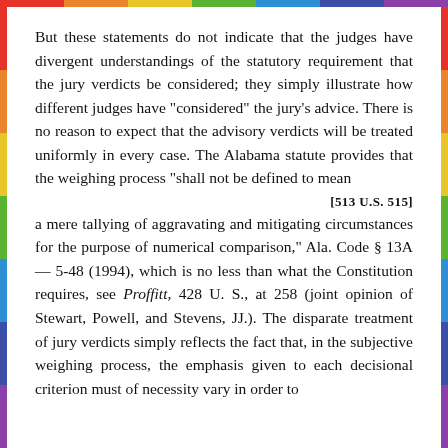But these statements do not indicate that the judges have divergent understandings of the statutory requirement that the jury verdicts be considered; they simply illustrate how different judges have "considered" the jury's advice. There is no reason to expect that the advisory verdicts will be treated uniformly in every case. The Alabama statute provides that the weighing process "shall not be defined to mean
[513 U.S. 515]
a mere tallying of aggravating and mitigating circumstances for the purpose of numerical comparison," Ala. Code § 13A— 5-48 (1994), which is no less than what the Constitution requires, see Proffitt, 428 U. S., at 258 (joint opinion of Stewart, Powell, and Stevens, JJ.). The disparate treatment of jury verdicts simply reflects the fact that, in the subjective weighing process, the emphasis given to each decisional criterion must of necessity vary in order to